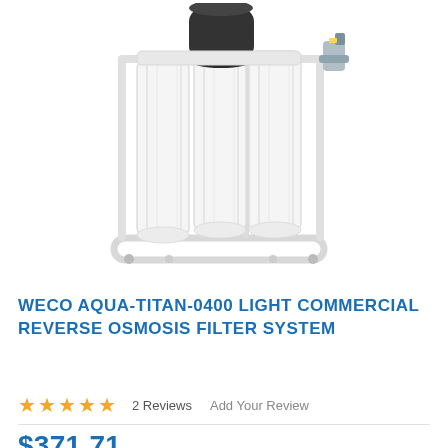[Figure (photo): Commercial reverse osmosis filter system on a white metal stand frame with multiple large white filter housings, mounted on a rectangular base with feet. A black cylindrical component is visible at the top, and a blue/gray valve fitting is visible on the right side.]
WECO AQUA-TITAN-0400 LIGHT COMMERCIAL REVERSE OSMOSIS FILTER SYSTEM
★★★★★  2 Reviews  Add Your Review
$371.71